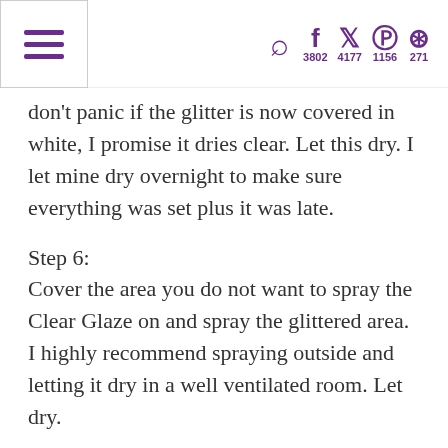☰ [search] f 3802  [twitter] 4177  [pinterest] 1156  [instagram] 271
don't panic if the glitter is now covered in white, I promise it dries clear. Let this dry. I let mine dry overnight to make sure everything was set plus it was late.
Step 6:
Cover the area you do not want to spray the Clear Glaze on and spray the glittered area. I highly recommend spraying outside and letting it dry in a well ventilated room. Let dry.
About the Author: Sarah's philosophy is that every occasion; a wedding, job